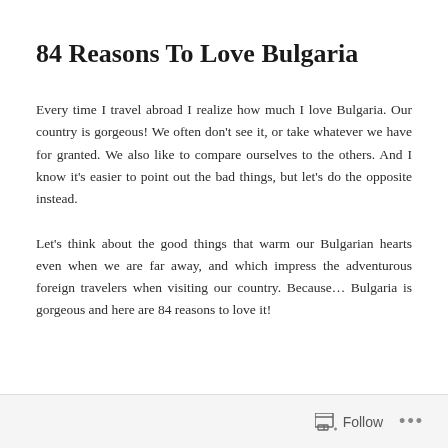84 Reasons To Love Bulgaria
Every time I travel abroad I realize how much I love Bulgaria. Our country is gorgeous! We often don't see it, or take whatever we have for granted. We also like to compare ourselves to the others. And I know it's easier to point out the bad things, but let's do the opposite instead.
Let's think about the good things that warm our Bulgarian hearts even when we are far away, and which impress the adventurous foreign travelers when visiting our country. Because… Bulgaria is gorgeous and here are 84 reasons to love it!
Follow  •••